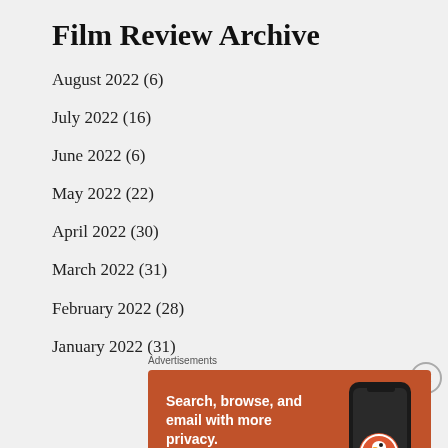Film Review Archive
August 2022 (6)
July 2022 (16)
June 2022 (6)
May 2022 (22)
April 2022 (30)
March 2022 (31)
February 2022 (28)
January 2022 (31)
Advertisements
[Figure (infographic): DuckDuckGo advertisement banner with orange background. Text reads: 'Search, browse, and email with more privacy. All in One Free App' with DuckDuckGo logo and phone mockup.]